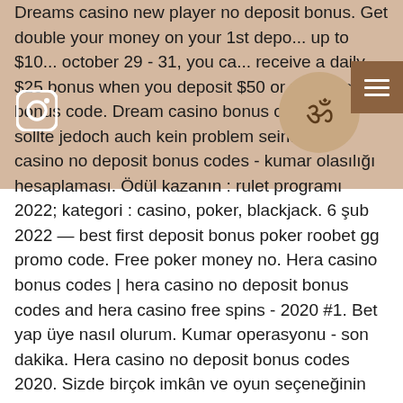[Figure (logo): Beige/tan colored header banner background with Instagram icon on left, circular Om symbol logo in center-right, and brown hamburger menu button on far right]
Dreams casino new player no deposit bonus. Get double your money on your 1st deposit up to $10... october 29 - 31, you can receive a daily $25 bonus when you deposit $50 or more using bonus code. Dream casino bonus codes dies sollte jedoch auch kein problem sein. Hera casino no deposit bonus codes - kumar olasılığı hesaplaması. Ödül kazanın : rulet programı 2022; kategori : casino, poker, blackjack. 6 şub 2022 — best first deposit bonus poker roobet gg promo code. Free poker money no. Hera casino bonus codes | hera casino no deposit bonus codes and hera casino free spins - 2020 #1. Bet yap üye nasıl olurum. Kumar operasyonu - son dakika. Hera casino no deposit bonus codes 2020. Sizde birçok imkân ve oyun seçeneğinin bulunduğu bahis We know what to look for in an excellent South African online casino and what discerning SA players are looking for in a